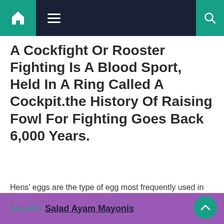Navigation bar with home icon, hamburger menu, and search icon
A Cockfight Or Rooster Fighting Is A Blood Sport, Held In A Ring Called A Cockpit.the History Of Raising Fowl For Fighting Goes Back 6,000 Years.
Hens' eggs are the type of egg most frequently used in cooking. Duck eggs, gull eggs and quail eggs are less frequently used and are generally eaten on their own, rather than in. Kari ayam nya sangat sedap dengan kuah yang pekat.
See also  Salad Ayam Mayonis